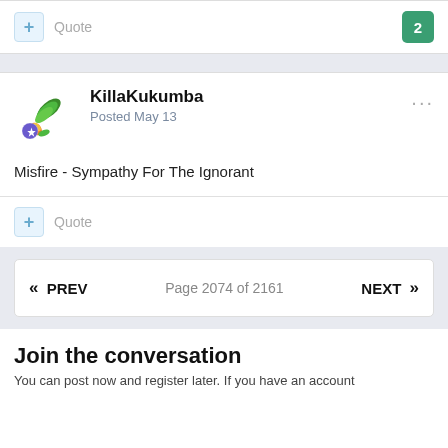+ Quote  2
KillaKukumba
Posted May 13
Misfire - Sympathy For The Ignorant
+ Quote
« PREV   Page 2074 of 2161   NEXT »
Join the conversation
You can post now and register later. If you have an account